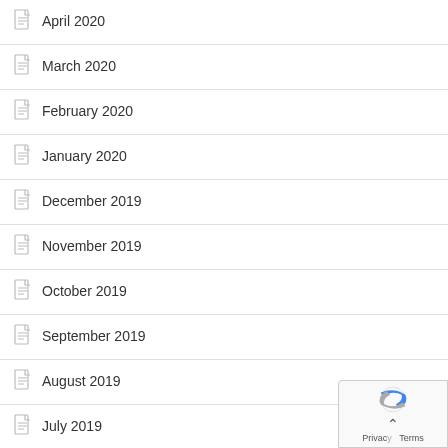April 2020
March 2020
February 2020
January 2020
December 2019
November 2019
October 2019
September 2019
August 2019
July 2019
June 2019
May 2019
April 2019